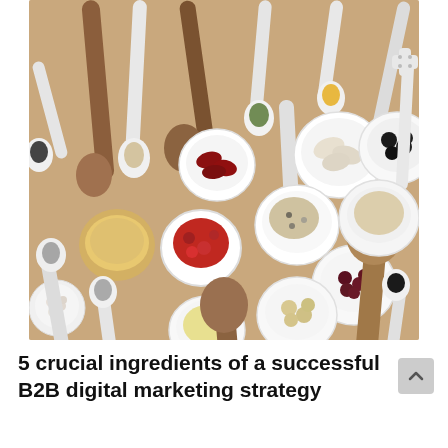[Figure (photo): Overhead flat-lay photograph of various grains, seeds, legumes, and herbs arranged in wooden and white ceramic spoons and small white bowls on a tan/beige background. Items include red kidney beans, black beans, white beans, mung beans, goji berries, quinoa, oats, sesame seeds, hemp seeds, soybeans, and various other seeds and dried ingredients.]
5 crucial ingredients of a successful B2B digital marketing strategy